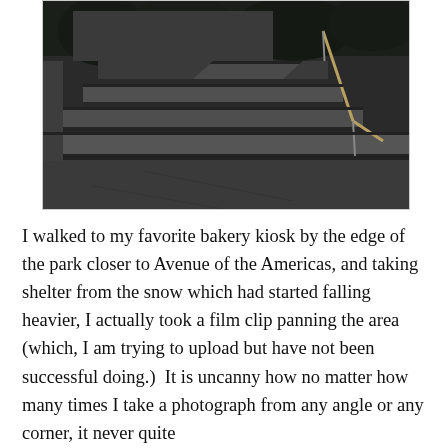[Figure (photo): Black and white photograph of concrete steps leading up to a building entrance, with metal handrails visible on the right side and trees/shrubs in the background.]
I walked to my favorite bakery kiosk by the edge of the park closer to Avenue of the Americas, and taking shelter from the snow which had started falling heavier, I actually took a film clip panning the area (which, I am trying to upload but have not been successful doing.)  It is uncanny how no matter how many times I take a photograph from any angle or any corner, it never quite